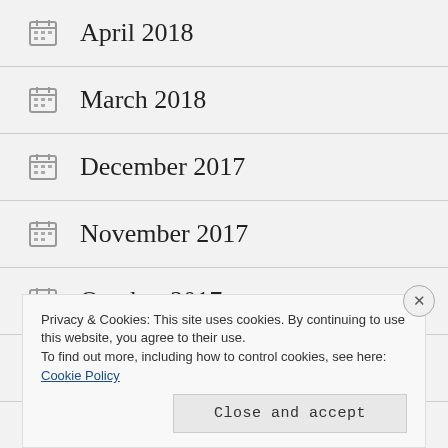April 2018
March 2018
December 2017
November 2017
October 2017
August 2017
June 2017
Privacy & Cookies: This site uses cookies. By continuing to use this website, you agree to their use.
To find out more, including how to control cookies, see here: Cookie Policy
Close and accept